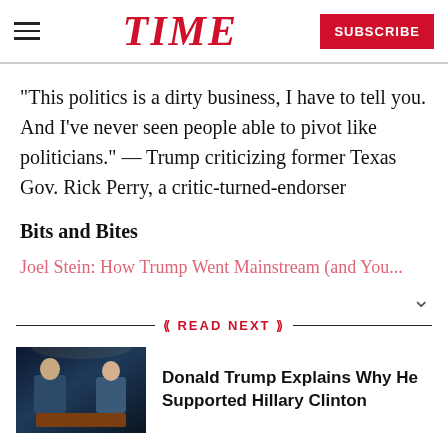TIME — SUBSCRIBE
“This politics is a dirty business, I have to tell you. And I’ve never seen people able to pivot like politicians.” — Trump criticizing former Texas Gov. Rick Perry, a critic-turned-endorser
Bits and Bites
Joel Stein: How Trump Went Mainstream (and You...
READ NEXT
[Figure (photo): Thumbnail photo of Donald Trump on a late-night talk show set, dark background with two figures and a desk visible]
Donald Trump Explains Why He Supported Hillary Clinton